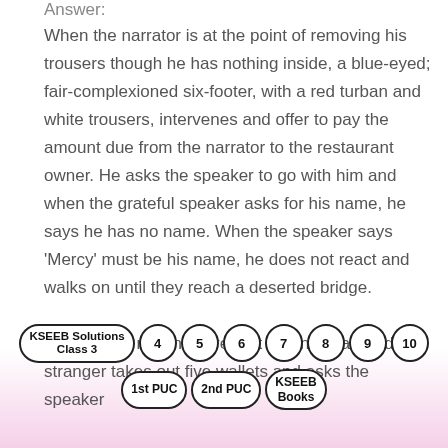Answer:
When the narrator is at the point of removing his trousers though he has nothing inside, a blue-eyed; fair-complexioned six-footer, with a red turban and white trousers, intervenes and offer to pay the amount due from the narrator to the restaurant owner. He asks the speaker to go with him and when the grateful speaker asks for his name, he says he has no name. When the speaker says ‘Mercy’ must be his name, he does not react and walks on until they reach a deserted bridge.
There, after making sure that no one is around, the stranger takes out five wallets and asks the speaker
KSEEB Solutions Class 3  4  5  6  7  8  9  10  1st PUC  2nd PUC  KSEEB Books